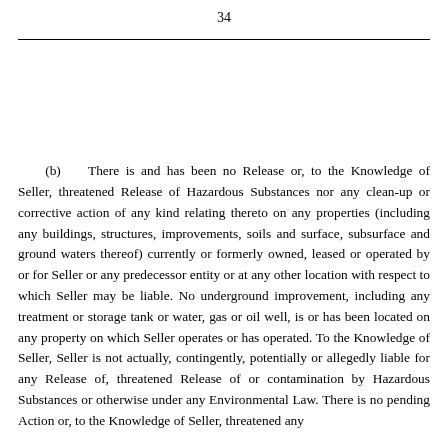34
(b) There is and has been no Release or, to the Knowledge of Seller, threatened Release of Hazardous Substances nor any clean-up or corrective action of any kind relating thereto on any properties (including any buildings, structures, improvements, soils and surface, subsurface and ground waters thereof) currently or formerly owned, leased or operated by or for Seller or any predecessor entity or at any other location with respect to which Seller may be liable. No underground improvement, including any treatment or storage tank or water, gas or oil well, is or has been located on any property on which Seller operates or has operated. To the Knowledge of Seller, Seller is not actually, contingently, potentially or allegedly liable for any Release of, threatened Release of or contamination by Hazardous Substances or otherwise under any Environmental Law. There is no pending Action or, to the Knowledge of Seller, threatened any